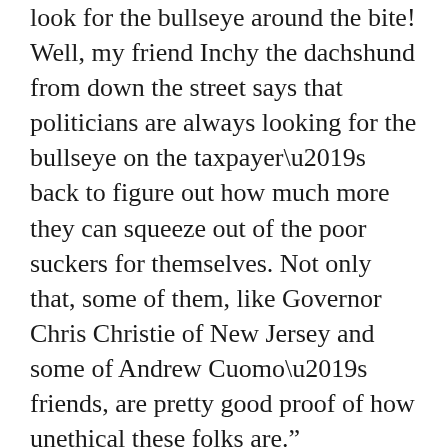look for the bullseye around the bite! Well, my friend Inchy the dachshund from down the street says that politicians are always looking for the bullseye on the taxpayer’s back to figure out how much more they can squeeze out of the poor suckers for themselves. Not only that, some of them, like Governor Chris Christie of New Jersey and some of Andrew Cuomo’s friends, are pretty good proof of how unethical these folks are.”
“Now Murray, think of all the good people who work so hard for their constituents.”
“Name one, Pops.”
“Okay, how about New York Assemblyman Richard Gottfried who is trying to institute a universal health care plan for New York State? Right?”